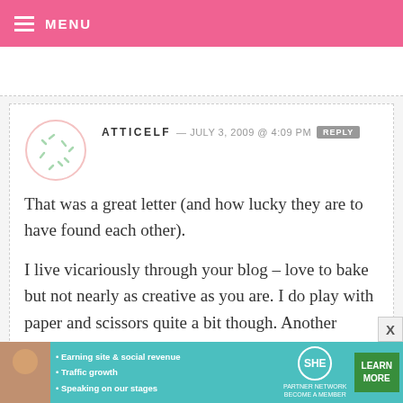MENU
ATTICELF — JULY 3, 2009 @ 4:09 PM  REPLY

That was a great letter (and how lucky they are to have found each other).

I live vicariously through your blog – love to bake but not nearly as creative as you are. I do play with paper and scissors quite a bit though. Another option to help our men and women in
[Figure (infographic): SHE Partner Network advertisement banner with photo of woman, bullet points about earning site & social revenue, traffic growth, speaking on stages, SHE logo, and Learn More button]